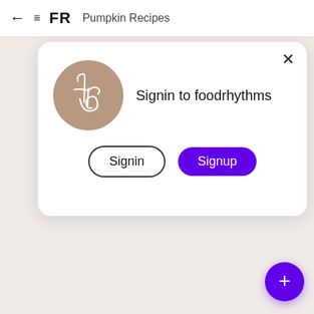← ≡ FR  Pumpkin Recipes
[Figure (screenshot): Modal dialog card with foodrhythms logo circle, 'Signin to foodrhythms' text, Signin and Signup buttons, and a close X button]
[Figure (illustration): Purple circular FAB button with plus sign in bottom right corner]